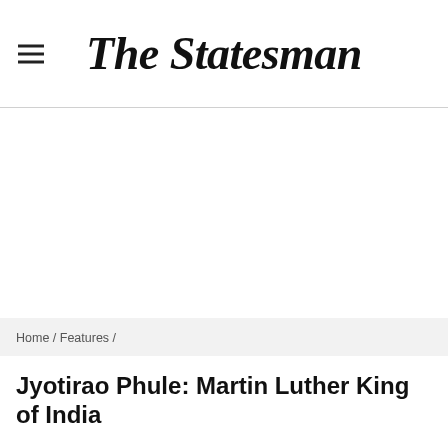The Statesman
[Figure (other): Advertisement or blank white space area below the header]
Home / Features /
Jyotirao Phule: Martin Luther King of India